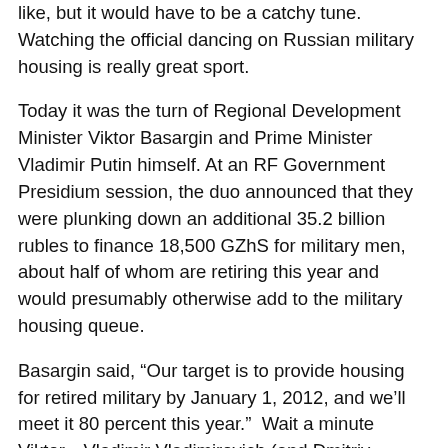like, but it would have to be a catchy tune. Watching the official dancing on Russian military housing is really great sport.
Today it was the turn of Regional Development Minister Viktor Basargin and Prime Minister Vladimir Putin himself. At an RF Government Presidium session, the duo announced that they were plunking down an additional 35.2 billion rubles to finance 18,500 GZhS for military men, about half of whom are retiring this year and would presumably otherwise add to the military housing queue.
Basargin said, “Our target is to provide housing for retired military by January 1, 2012, and we’ll meet it 80 percent this year.”  Wait a minute Viktor…Vladimir Vladimirovich (and Dmitriy Medvedev) have said repeatedly that retired military men are to receive permanent apartments in 2010…